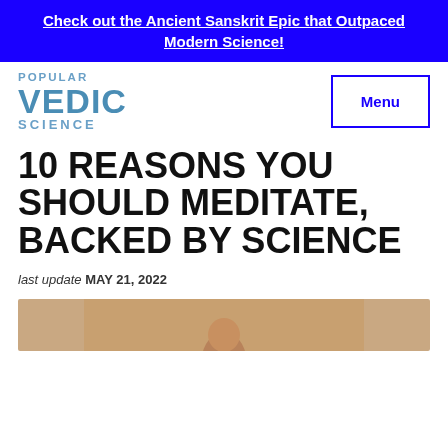Check out the Ancient Sanskrit Epic that Outpaced Modern Science!
[Figure (logo): Popular Vedic Science logo with blue text]
10 REASONS YOU SHOULD MEDITATE, BACKED BY SCIENCE
last update MAY 21, 2022
[Figure (photo): Partial photo of a person meditating, cropped at bottom of page]